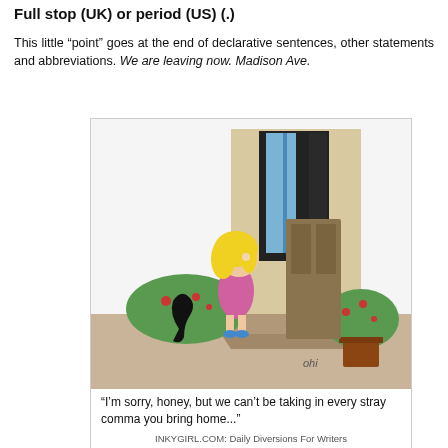Full stop (UK) or period (US) (.)
This little “point” goes at the end of declarative sentences, other statements and abbreviations. We are leaving now. Madison Ave.
[Figure (illustration): Comic strip showing a girl with blonde hair in a pink dress looking up at a large door, with a stray comma sitting on the ground like a pet. Caption reads: "I'm sorry, honey, but we can't be taking in every stray comma you bring home..." Credit: INKYGIRL.COM: Daily Diversions For Writers Copyright©2007 Debbie Ridpath Ohi]